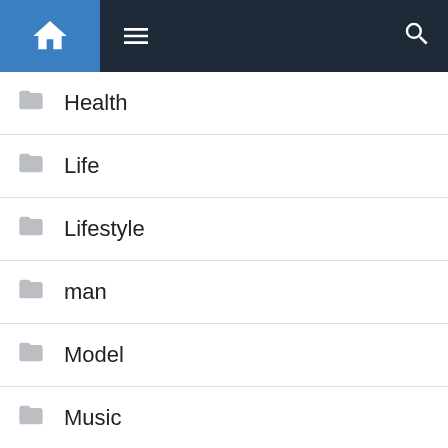Navigation bar with home, menu, and search icons
Health
Life
Lifestyle
man
Model
Music
National
Natural
News
Politics